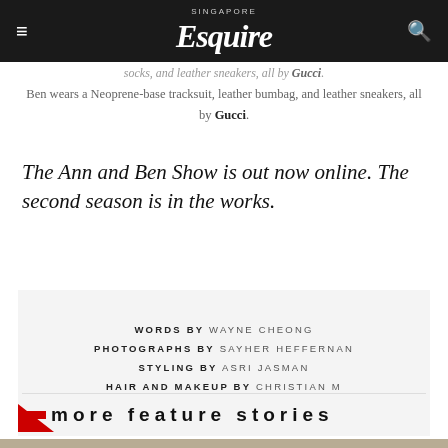Singapore Esquire
socks, and leather sneakers, all by Gucci.
Ben wears a Neoprene-base tracksuit, leather bumbag, and leather sneakers, all by Gucci.
The Ann and Ben Show is out now online. The second season is in the works.
WORDS BY WAYNE CHEONG PHOTOGRAPHS BY SAYHER HEFFERNAN STYLING BY ASRI JASMAN HAIR AND MAKEUP BY CHRISTIAN M
more feature stories